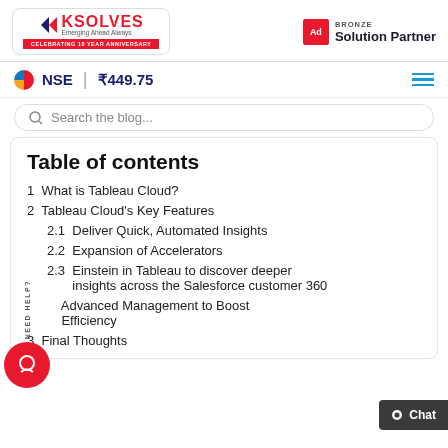[Figure (logo): Ksolves logo with 'Emerging Ahead Always' tagline and 'Celebrating 10 Year Anniversary' ribbon]
[Figure (logo): Adobe Bronze Solution Partner logo]
NSE ₹449.75
Search the blog...
Table of contents
1  What is Tableau Cloud?
2  Tableau Cloud's Key Features
2.1  Deliver Quick, Automated Insights
2.2  Expansion of Accelerators
2.3  Einstein in Tableau to discover deeper insights across the Salesforce customer 360
Advanced Management to Boost Efficiency
3  Final Thoughts